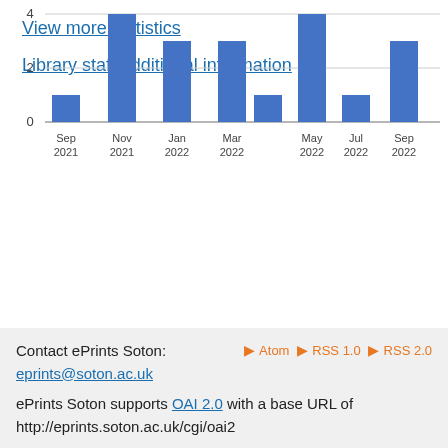[Figure (bar-chart): Downloads per month (partial view)]
View more statistics
Library staff additional information
Contact ePrints Soton: eprints@soton.ac.uk
Atom RSS 1.0 RSS 2.0
ePrints Soton supports OAI 2.0 with a base URL of http://eprints.soton.ac.uk/cgi/oai2
This repository has been built using EPrints software